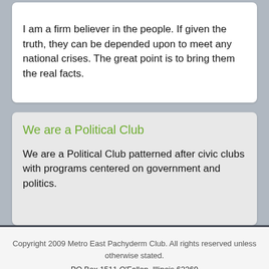I am a firm believer in the people. If given the truth, they can be depended upon to meet any national crises. The great point is to bring them the real facts.
We are a Political Club
We are a Political Club patterned after civic clubs with programs centered on government and politics.
Copyright 2009 Metro East Pachyderm Club. All rights reserved unless otherwise stated.
PO Box 1511 O'Fallon, Illinois 62269
Request more Info
Go to top
030723